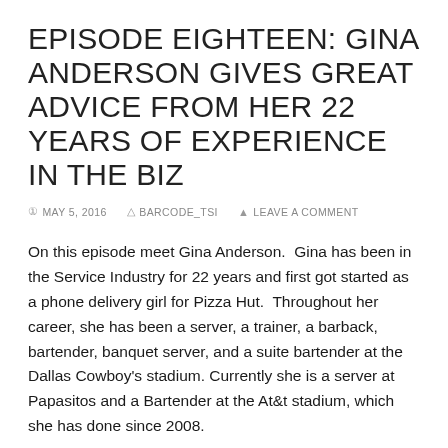EPISODE EIGHTEEN: GINA ANDERSON GIVES GREAT ADVICE FROM HER 22 YEARS OF EXPERIENCE IN THE BIZ
MAY 5, 2016   BARCODE_TSI   LEAVE A COMMENT
On this episode meet Gina Anderson.  Gina has been in the Service Industry for 22 years and first got started as a phone delivery girl for Pizza Hut.  Throughout her career, she has been a server, a trainer, a barback, bartender, banquet server, and a suite bartender at the Dallas Cowboy's stadium. Currently she is a server at Papasitos and a Bartender at the At&t stadium, which she has done since 2008.